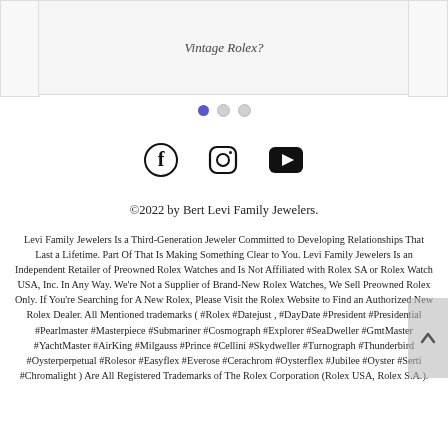[Figure (screenshot): Partial view of a card/article thumbnail with italic heading text 'Vintage Rolex?' visible at top, flanked by partial stub cards on left and right]
[Figure (other): Carousel navigation dots: one filled blue dot and two empty grey dots]
[Figure (other): Social media icons: Facebook (f), Instagram (camera), YouTube (play button)]
©2022 by Bert Levi Family Jewelers.
Levi Family Jewelers Is a Third-Generation Jeweler Committed to Developing Relationships That Last a Lifetime. Part Of That Is Making Something Clear to You. Levi Family Jewelers Is an Independent Retailer of Preowned Rolex Watches and Is Not Affiliated with Rolex SA or Rolex Watch USA, Inc. In Any Way. We're Not a Supplier of Brand-New Rolex Watches, We Sell Preowned Rolex Only. If You're Searching for A New Rolex, Please Visit the Rolex Website to Find an Authorized New Rolex Dealer. All Mentioned trademarks ( #Rolex #Datejust , #DayDate #President #Presidential #Pearlmaster #Masterpiece #Submariner #Cosmograph #Explorer #SeaDweller #GmtMaster #YachtMaster #AirKing #Milgauss #Prince #Cellini #Skydweller #Turnograph #Thunderbird #Oysterperpetual #Rolesor #Easyflex #Everose #Cerachrom #Oysterflex #Jubilee #Oyster #Serti #Chromalight ) Are All Registered Trademarks of The Rolex Corporation (Rolex USA, Rolex S.A.).